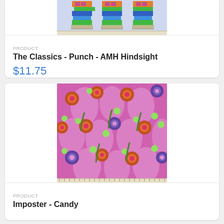[Figure (photo): Partial view of colorful striped/geometric fabric swatch at top of page]
PRODUCT
The Classics - Punch - AMH Hindsight
$11.75
[Figure (photo): Pink floral fabric swatch with intricate floral and organic patterns in pink, green, orange, purple and white]
PRODUCT
Imposter - Candy